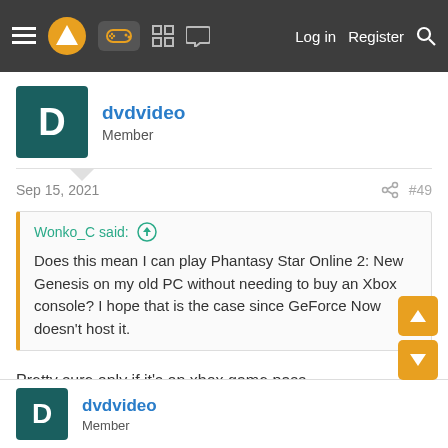Navigation bar: hamburger menu, logo, gamepad icon, grid icon, chat icon, Log in, Register, Search
dvdvideo
Member
Sep 15, 2021  #49
Wonko_C said: ↑
Does this mean I can play Phantasy Star Online 2: New Genesis on my old PC without needing to buy an Xbox console? I hope that is the case since GeForce Now doesn't host it.
Pretty sure only if it's on xbox game pass.
👍 Punished Miku
dvdvideo
Member